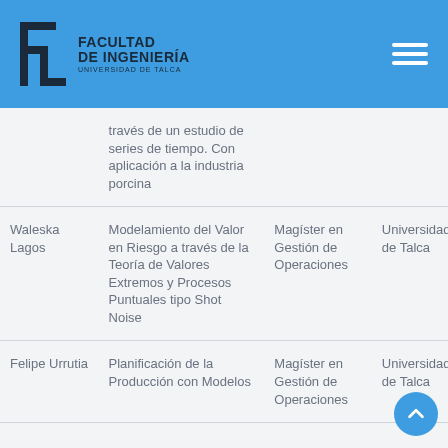FACULTAD DE INGENIERÍA UNIVERSIDAD DE TALCA
| Autor | Título | Programa | Institución |
| --- | --- | --- | --- |
|  | través de un estudio de series de tiempo. Con aplicación a la industria porcina |  |  |
| Waleska Lagos | Modelamiento del Valor en Riesgo a través de la Teoría de Valores Extremos y Procesos Puntuales tipo Shot Noise | Magíster en Gestión de Operaciones | Universidad de Talca |
| Felipe Urrutia | Planificación de la Producción con Modelos | Magíster en Gestión de Operaciones | Universidad de Talca |